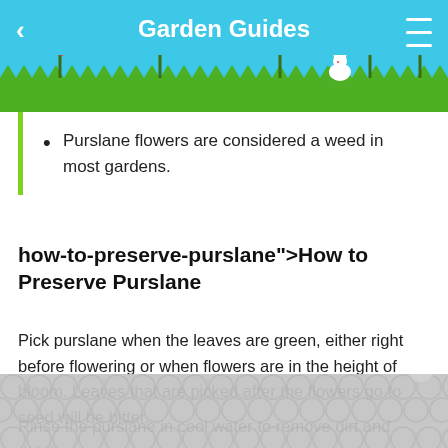Garden Guides
[Figure (illustration): Garden header illustration with colorful flowers, green grass silhouette, and a white rabbit on a sky blue background.]
Purslane flowers are considered a weed in most gardens.
how-to-preserve-purslane">How to Preserve Purslane
Pick purslane when the leaves are green, either right before flowering or when flowers are in the height of bloom. Leaves that are picked after the flowers go to seed will be bitter.
Rinse the purslane in cool water to remove dirt and debris                                                                          es